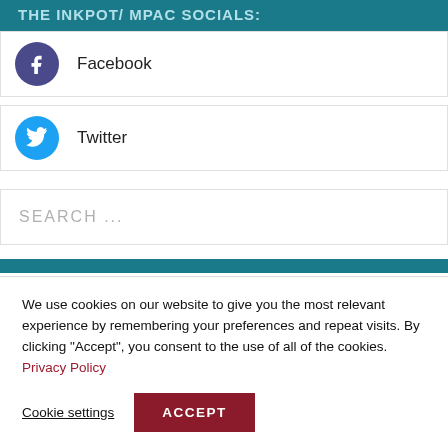THE INKPOT/ MPAC SOCIALS:
Facebook
Twitter
SEARCH ...
We use cookies on our website to give you the most relevant experience by remembering your preferences and repeat visits. By clicking “Accept”, you consent to the use of all of the cookies. Privacy Policy
Cookie settings   ACCEPT